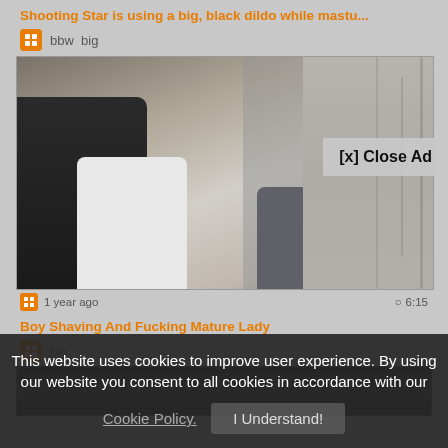Shooting Star is using a big, black dildo while mastu...
bbw  big
[Figure (photo): Video thumbnail showing two people in a room with bamboo-patterned curtains]
[x] Close Ad
1 year ago   6:15
Boy Shaving And Fucking Mature Lady
big
[Figure (photo): Partially visible second video thumbnail]
This website uses cookies to improve user experience. By using our website you consent to all cookies in accordance with our Cookie Policy.  I Understand!